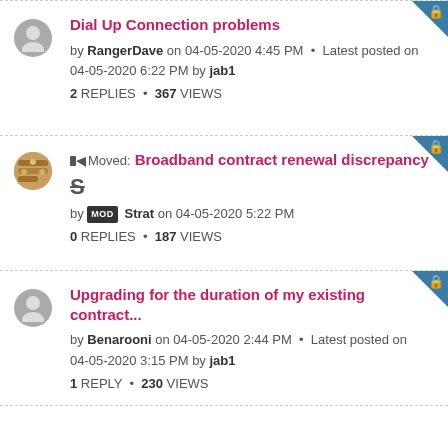Dial Up Connection problems — by RangerDave on 04-05-2020 4:45 PM • Latest posted on 04-05-2020 6:22 PM by jab1 — 2 REPLIES • 367 VIEWS
Moved: Broadband contract renewal discrepancy — by MOD Strat on 04-05-2020 5:22 PM — 0 REPLIES • 187 VIEWS
Upgrading for the duration of my existing contract... — by Benarooni on 04-05-2020 2:44 PM • Latest posted on 04-05-2020 3:15 PM by jab1 — 1 REPLY • 230 VIEWS